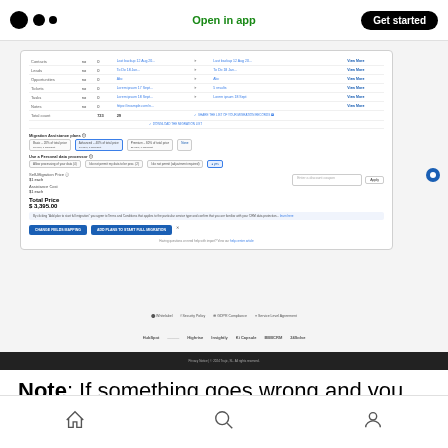Open in app | Get started
[Figure (screenshot): Screenshot of a web app showing a data migration/pricing panel with rows for Contacts, Leads, Opportunities, Tickets, Tasks, Notes; Total count 723/29; Migration/Plan options; Personal data assistance options; Migration price $1 each; Discount code: $1 each; Total Price: $3,395.00; Action buttons: CHANGE FIELDS MAPPING / ADD PLANS TO START FULL MIGRATION; footer with Whitelabel, Security Policy, GDPR Compliance, Service Level Agreement links; partner logos: HubSpot, etc.; dark footer bar]
Note: If something goes wrong and you want to
Home | Search | Profile